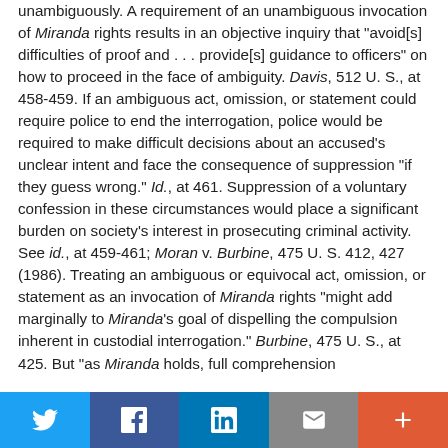unambiguously. A requirement of an unambiguous invocation of Miranda rights results in an objective inquiry that "avoid[s] difficulties of proof and . . . provide[s] guidance to officers" on how to proceed in the face of ambiguity. Davis, 512 U. S., at 458-459. If an ambiguous act, omission, or statement could require police to end the interrogation, police would be required to make difficult decisions about an accused's unclear intent and face the consequence of suppression "if they guess wrong." Id., at 461. Suppression of a voluntary confession in these circumstances would place a significant burden on society's interest in prosecuting criminal activity. See id., at 459-461; Moran v. Burbine, 475 U. S. 412, 427 (1986). Treating an ambiguous or equivocal act, omission, or statement as an invocation of Miranda rights "might add marginally to Miranda's goal of dispelling the compulsion inherent in custodial interrogation." Burbine, 475 U. S., at 425. But "as Miranda holds, full comprehension
Twitter | Facebook | LinkedIn | Email | +